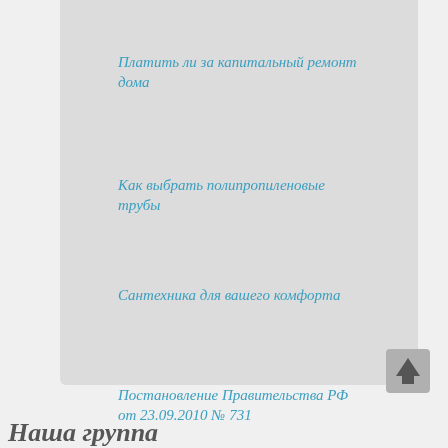Платить ли за капитальный ремонт дома
Как выбрать полипропиленовые трубы
Сантехника для вашего комфорта
Постановление Правительства РФ от 23.09.2010 № 731
Наша группа